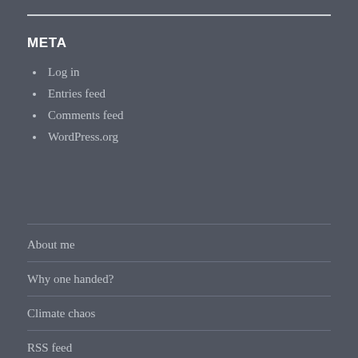META
Log in
Entries feed
Comments feed
WordPress.org
About me
Why one handed?
Climate chaos
RSS feed